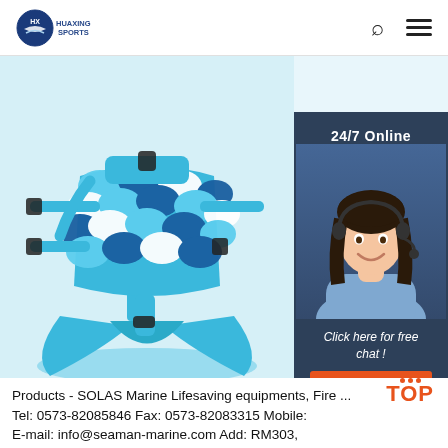HUAXING SPORTS [logo]
[Figure (photo): Blue mermaid monofin/swimfin product with fish-scale patterned top section in blue and white, aqua blue straps and buckles, and a wide tail fin at the bottom, shown against a light blue background. Right side has a customer service chat widget with '24/7 Online' text, a smiling female agent wearing a headset, 'Click here for free chat!' text, and an orange 'QUOTATION' button, all on a dark navy background.]
Products - SOLAS Marine Lifesaving equipments, Fire ...
Tel: 0573-82085846 Fax: 0573-82083315 Mobile:
E-mail: info@seaman-marine.com Add: RM303,
JINGRUN BUILDING, NO. 2017 ZHONGSHAN RD